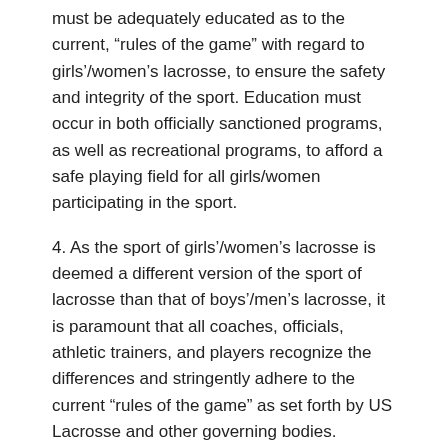must be adequately educated as to the current, “rules of the game” with regard to girls’/women’s lacrosse, to ensure the safety and integrity of the sport. Education must occur in both officially sanctioned programs, as well as recreational programs, to afford a safe playing field for all girls/women participating in the sport.
4. As the sport of girls’/women’s lacrosse is deemed a different version of the sport of lacrosse than that of boys’/men’s lacrosse, it is paramount that all coaches, officials, athletic trainers, and players recognize the differences and stringently adhere to the current “rules of the game” as set forth by US Lacrosse and other governing bodies.
5. In addition to ensuring safe play by enforcing strict penalties for dangerous and overly aggressive play, all coaches, athletic trainers, officials, parents and players need to be properly educated as to the magnitude of concussive injuries in the